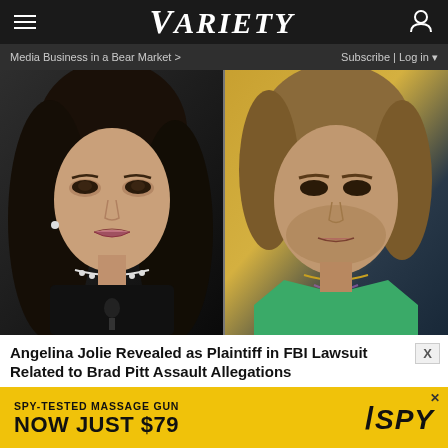VARIETY
Media Business in a Bear Market > | Subscribe | Log in
[Figure (photo): Side-by-side photos of Angelina Jolie (left, dark background, pearl necklace, microphone) and Brad Pitt (right, yellow background, green jacket)]
Angelina Jolie Revealed as Plaintiff in FBI Lawsuit Related to Brad Pitt Assault Allegations
[Figure (other): Advertisement banner: SPY-TESTED MASSAGE GUN NOW JUST $79, SPY logo on yellow background]